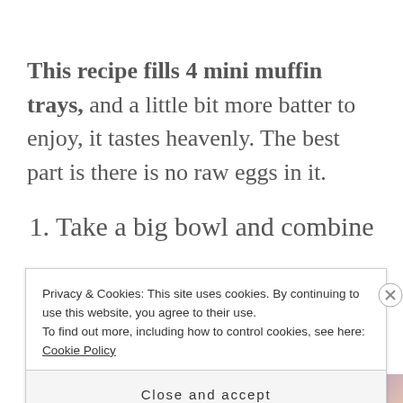This recipe fills 4 mini muffin trays, and a little bit more batter to enjoy, it tastes heavenly. The best part is there is no raw eggs in it.
1. Take a big bowl and combine
Privacy & Cookies: This site uses cookies. By continuing to use this website, you agree to their use.
To find out more, including how to control cookies, see here: Cookie Policy
Close and accept